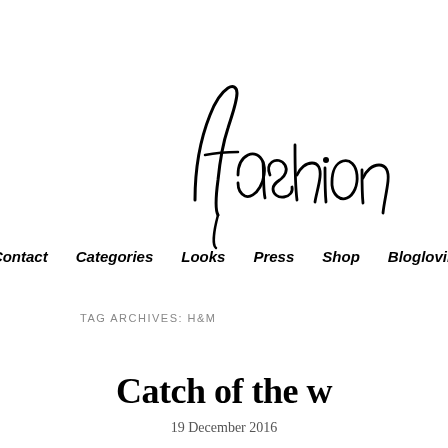[Figure (logo): Cursive handwritten 'fashion' logo in black ink on white background]
Contact   Categories   Looks   Press   Shop   Bloglovin
TAG ARCHIVES: H&M
Catch of the w
19 December 2016